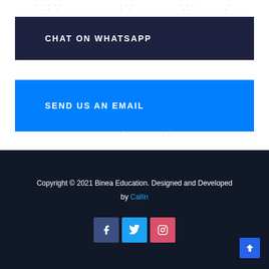CHAT ON WHATSAPP
SEND US AN EMAIL
Copyright © 2021 Binea Education. Designed and Developed by Callin
[Figure (other): Social media icons: Facebook, Twitter, Instagram]
[Figure (other): Scroll to top arrow button]